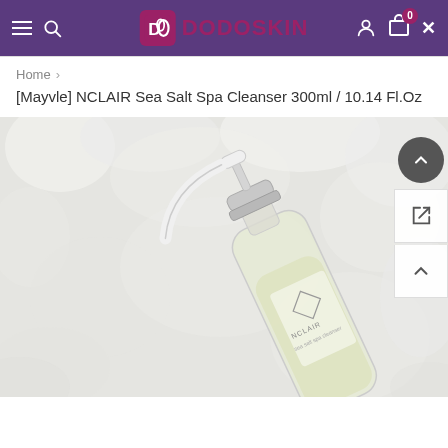[Figure (screenshot): DODOSKIN e-commerce website navigation bar with hamburger menu, search icon, DODOSKIN logo in purple/magenta, user account icon, cart icon with badge showing 0, and close X button on purple background]
Home >
[Mayvle] NCLAIR Sea Salt Spa Cleanser 300ml / 10.14 Fl.Oz
[Figure (photo): Product photo of NCLAIR Sea Salt Spa Cleanser bottle with pump dispenser, lying on a white foamy/bubbly background. The clear glass bottle shows pale yellow liquid inside with a white label reading 'NCLAIR sea salt spa cleanser' with a diamond logo.]